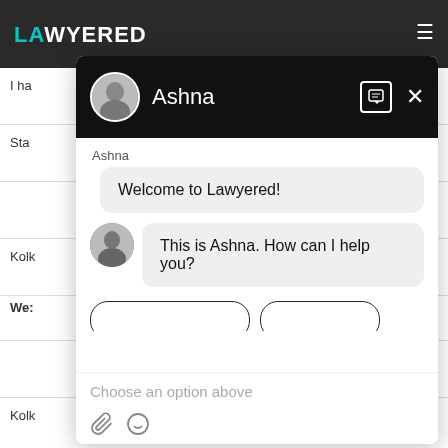[Figure (screenshot): Screenshot of the Lawyered legal services website with a chat widget overlay. The chat widget shows an agent named Ashna with messages: 'Welcome to Lawyered!' and 'This is Ashna. How can I help you?'. The bottom of the chat shows 'Choose an option above' placeholder text and attachment/emoji icons.]